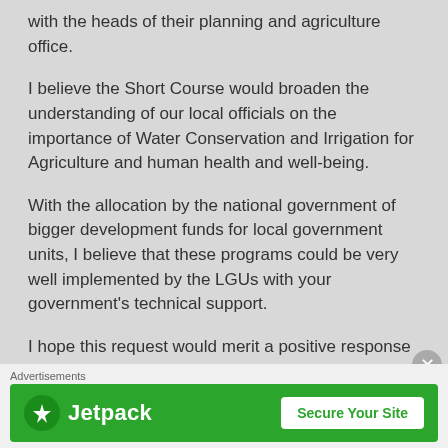with the heads of their planning and agriculture office.
I believe the Short Course would broaden the understanding of our local officials on the importance of Water Conservation and Irrigation for Agriculture and human health and well-being.
With the allocation by the national government of bigger development funds for local government units, I believe that these programs could be very well implemented by the LGUs with your government's technical support.
I hope this request would merit a positive response from your end.
Advertisements
[Figure (other): Jetpack advertisement banner with green background showing Jetpack logo and 'Secure Your Site' button]